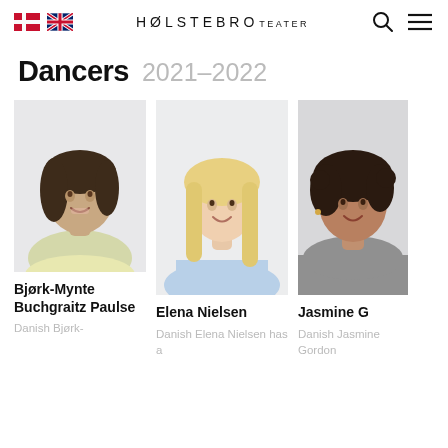Holstebro Teater — navigation header with Danish and UK flags, search icon, and menu icon
Dancers 2021–2022
[Figure (photo): Headshot of Bjørk-Mynte Buchgraitz Paulse, a woman with dark wavy hair, smiling, wearing a light yellow top]
Bjørk-Mynte Buchgraitz Paulse
Danish Bjørk-
[Figure (photo): Headshot of Elena Nielsen, a blonde woman smiling, wearing a light blue off-shoulder top]
Elena Nielsen
Danish Elena Nielsen has a
[Figure (photo): Headshot of Jasmine G, a woman with curly dark hair, smiling, wearing a grey turtleneck]
Jasmine G
Danish Jasmine Gordon